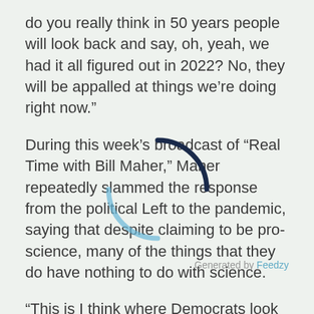do you really think in 50 years people will look back and say, oh, yeah, we had it all figured out in 2022? No, they will be appalled at things we're doing right now."
During this week's broadcast of “Real Time with Bill Maher,” Maher repeatedly slammed the response from the political Left to the pandemic, saying that despite claiming to be pro-science, many of the things that they do have nothing to do with science.
“This is I think where Democrats look bad. Like, ‘We’re the people of science’ and then a lot of what they do has nothing to do with science, like suggesting you wear masks outside. There’s no science to that,” Maher said. “Or that the virus can get me when I’m walking in a restaurant but not when I’m sitting down. There’s so much mindless